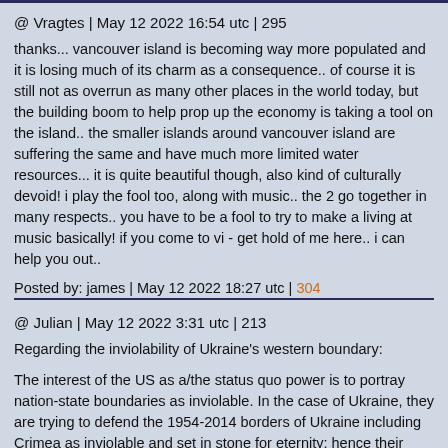@ Vragtes | May 12 2022 16:54 utc | 295
thanks... vancouver island is becoming way more populated and it is losing much of its charm as a consequence.. of course it is still not as overrun as many other places in the world today, but the building boom to help prop up the economy is taking a tool on the island.. the smaller islands around vancouver island are suffering the same and have much more limited water resources... it is quite beautiful though, also kind of culturally devoid! i play the fool too, along with music.. the 2 go together in many respects.. you have to be a fool to try to make a living at music basically! if you come to vi - get hold of me here.. i can help you out..
Posted by: james | May 12 2022 18:27 utc | 304
@ Julian | May 12 2022 3:31 utc | 213
Regarding the inviolability of Ukraine's western boundary:
The interest of the US as a/the status quo power is to portray nation-state boundaries as inviolable. In the case of Ukraine, they are trying to defend the 1954-2014 borders of Ukraine including Crimea as inviolable and set in stone for eternity; hence their position that Russia's annexation of Crimea and defense of the Donbass republics is a violation.